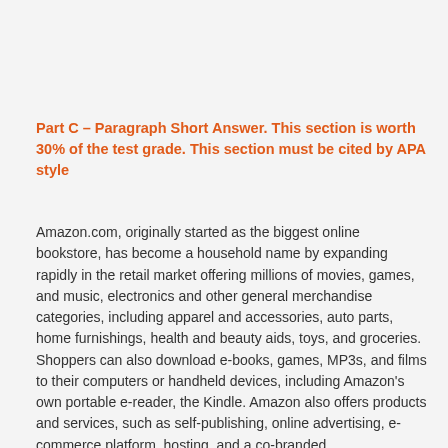Part C – Paragraph Short Answer.  This section is worth 30% of the test grade. This section must be cited by APA style
Amazon.com, originally started as the biggest online bookstore, has become a household name by expanding rapidly in the retail market offering millions of movies, games, and music, electronics and other general merchandise categories, including apparel and accessories, auto parts, home furnishings, health and beauty aids, toys, and groceries. Shoppers can also download e-books, games, MP3s, and films to their computers or handheld devices, including Amazon's own portable e-reader, the Kindle. Amazon also offers products and services, such as self-publishing, online advertising, e-commerce platform, hosting, and a co-branded